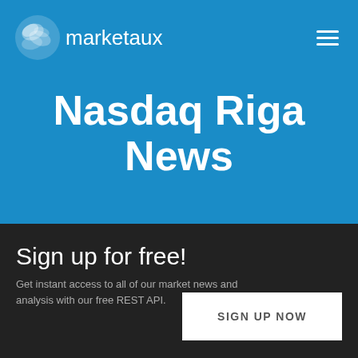[Figure (logo): Marketaux logo with swirl icon and text 'marketaux' in white on blue background]
Nasdaq Riga News
Sign up for free!
Get instant access to all of our market news and analysis with our free REST API.
SIGN UP NOW